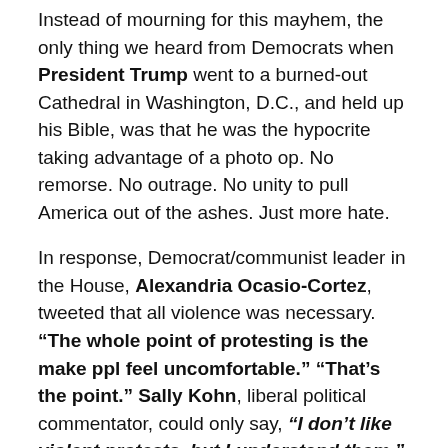Instead of mourning for this mayhem, the only thing we heard from Democrats when President Trump went to a burned-out Cathedral in Washington, D.C., and held up his Bible, was that he was the hypocrite taking advantage of a photo op. No remorse. No outrage. No unity to pull America out of the ashes. Just more hate.
In response, Democrat/communist leader in the House, Alexandria Ocasio-Cortez, tweeted that all violence was necessary. "The whole point of protesting is the make ppl feel uncomfortable." "That's the point." Sally Kohn, liberal political commentator, could only say, "I don't like violent protests, but I understand them." (5/3/20).
Communist-inspired mobs attacked the Portland, OR courthouse for more than 60 days. Twenty-one Police officers were hospitalized. Portland mayor Ted Wheeler even joined rioters and participated in demonstrations. Finally,